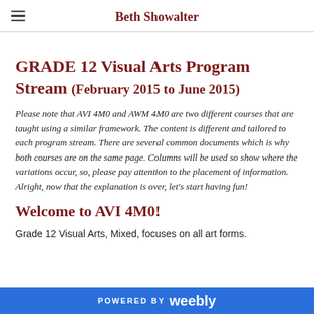Beth Showalter
GRADE 12 Visual Arts Program Stream (February 2015 to June 2015)
Please note that AVI 4M0 and AWM 4M0 are two different courses that are taught using a similar framework.  The content is different and tailored to each program stream.  There are several common documents which is why both courses are on the same page.  Columns will be used so show where the variations occur, so, please pay attention to the placement of information.  Alright, now that the explanation is over, let's start having fun!
Welcome to AVI 4M0!
Grade 12 Visual Arts, Mixed, focuses on all art forms.
POWERED BY weebly